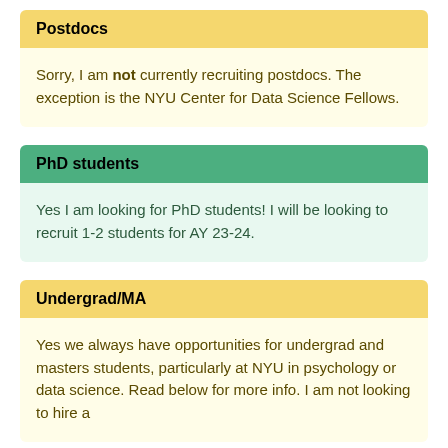Postdocs
Sorry, I am not currently recruiting postdocs. The exception is the NYU Center for Data Science Fellows.
PhD students
Yes I am looking for PhD students! I will be looking to recruit 1-2 students for AY 23-24.
Undergrad/MA
Yes we always have opportunities for undergrad and masters students, particularly at NYU in psychology or data science. Read below for more info. I am not looking to hire a